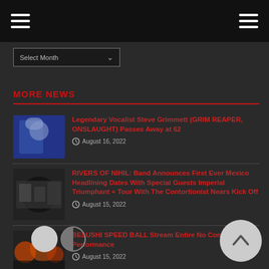Navigation bar with hamburger menus
Select Month
MORE NEWS
Legendary Vocalist Steve Grimmett (GRIM REAPER, ONSLAUGHT) Passes Away at 62 — August 16, 2022
RIVERS OF NIHIL: Band Announces First Ever Mexico Headlining Dates With Special Guests Imperial Triumphant + Tour With The Contortionist Nears Kick Off — August 15, 2022
BELUSHI SPEED BALL Stream Entire No Comply II Performance — August 15, 2022
Moonspell, Swallow The Sun & Witherfall... Canceled